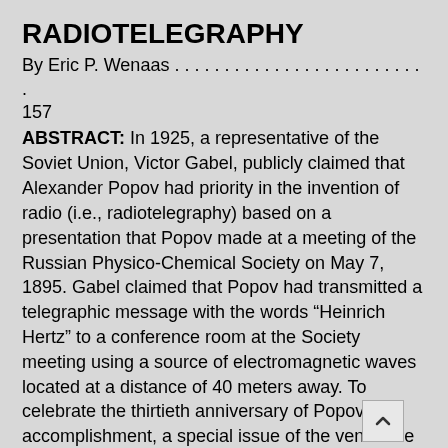RADIOTELEGRAPHY
By Eric P. Wenaas . . . . . . . . . . . . . . . . . . . . . . . . . . 157
ABSTRACT: In 1925, a representative of the Soviet Union, Victor Gabel, publicly claimed that Alexander Popov had priority in the invention of radio (i.e., radiotelegraphy) based on a presentation that Popov made at a meeting of the Russian Physico-Chemical Society on May 7, 1895. Gabel claimed that Popov had transmitted a telegraphic message with the words “Heinrich Hertz” to a conference room at the Society meeting using a source of electromagnetic waves located at a distance of 40 meters away. To celebrate the thirtieth anniversary of Popov’s accomplishment, a special issue of the venerable Russian electrical journal, Electricity (Elektrichestvo), was published in April 1925. However, Popov did not document his work with